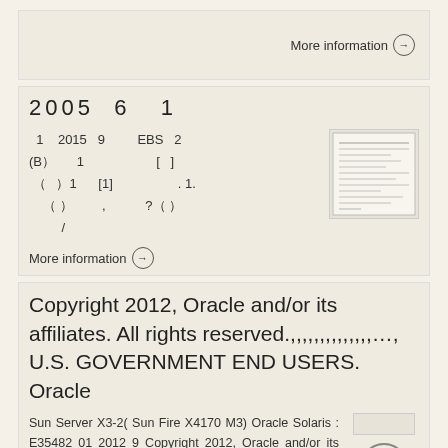More information →
2005  6  1
1  2015  9  EBS  2
(B）  1  [ ]
（  ）1  [1]  . 1.
（ ）,  ?（ ）
/
[Figure (other): Thumbnail of a document page]
More information →
Copyright 2012, Oracle and/or its affiliates. All rights reserved.,,,,,,,,,,,,,,…, U.S. GOVERNMENT END USERS. Oracle
Sun Server X3-2( Sun Fire X4170 M3) Oracle Solaris : E35482 01 2012 9 Copyright 2012, Oracle and/or its affiliates. All rights reserved............  U.S. GOVERNMENT
[Figure (other): Thumbnail lines and back-to-top button]